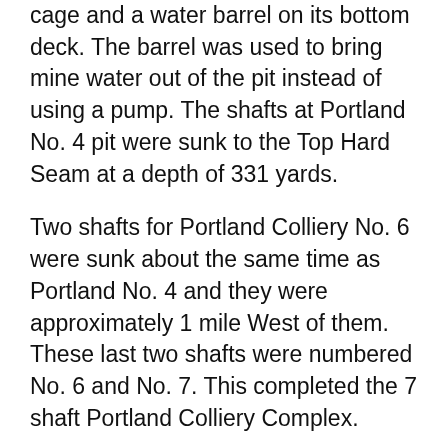cage and a water barrel on its bottom deck. The barrel was used to bring mine water out of the pit instead of using a pump. The shafts at Portland No. 4 pit were sunk to the Top Hard Seam at a depth of 331 yards.
Two shafts for Portland Colliery No. 6 were sunk about the same time as Portland No. 4 and they were approximately 1 mile West of them. These last two shafts were numbered No. 6 and No. 7. This completed the 7 shaft Portland Colliery Complex.
The surface workings of the four Collieries No. 1, No. 2, No. 4 and No. 6 were all connected by a small single track railway or were close to haulage planes. Their system of tramways included one from the Portland pits to the canal and ironworks at Codnor Park. Stationary steam engines, placed